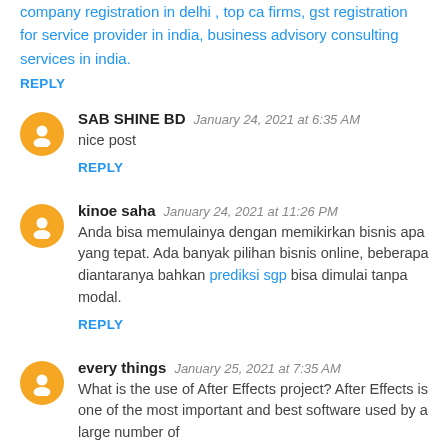company registration in delhi , top ca firms, gst registration for service provider in india, business advisory consulting services in india.
REPLY
SAB SHINE BD   January 24, 2021 at 6:35 AM
nice post
REPLY
kinoe saha   January 24, 2021 at 11:26 PM
Anda bisa memulainya dengan memikirkan bisnis apa yang tepat. Ada banyak pilihan bisnis online, beberapa diantaranya bahkan prediksi sgp bisa dimulai tanpa modal.
REPLY
every things   January 25, 2021 at 7:35 AM
What is the use of After Effects project? After Effects is one of the most important and best software used by a large number of